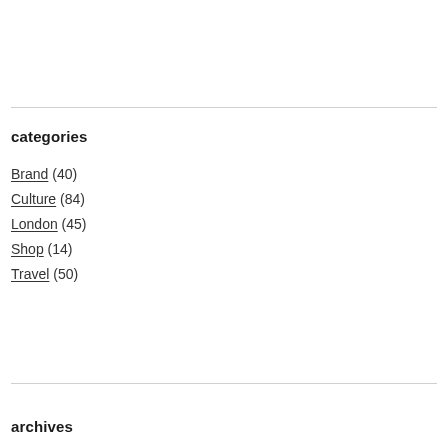categories
Brand (40)
Culture (84)
London (45)
Shop (14)
Travel (50)
archives